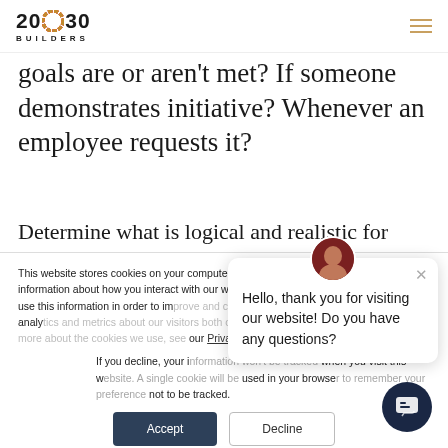2030 BUILDERS
goals are or aren't met? If someone demonstrates initiative? Whenever an employee requests it?
Determine what is logical and realistic for
This website stores cookies on your computer. These cookies are used to collect information about how you interact with our website and allow us to remember you. We use this information in order to improve and customize your browsing experience and for analytics and metrics about our visitors both on this website and other media. To find out more about the cookies we use, see our Privacy Policy.
If you decline, your information won't be tracked when you visit this website. A single cookie will be used in your browser to remember your preference not to be tracked.
Hello, thank you for visiting our website! Do you have any questions?